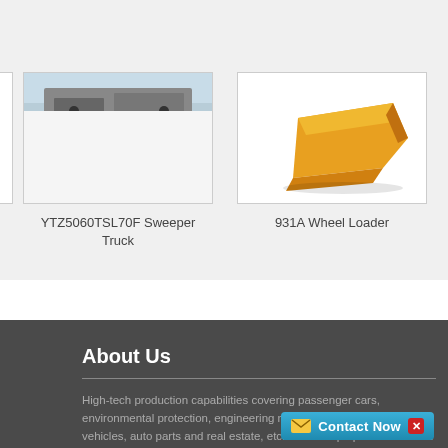[Figure (photo): Product card showing YTZ5060TSL70F Sweeper Truck with a partial image of a truck]
YTZ5060TSL70F Sweeper Truck
[Figure (photo): Product card showing 931A Wheel Loader with an image of a yellow wheel loader bucket]
931A Wheel Loader
About Us
High-tech production capabilities covering passenger cars, environmental protection, engineering machinery and special vehicles, auto parts and real estate, etc. The Group operates with the product as th